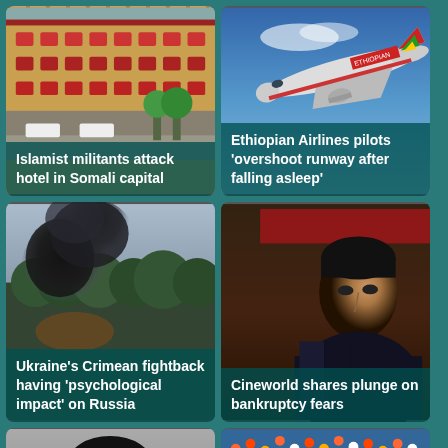[Figure (photo): Hotel building with reddish-brown architectural details, vehicles parked outside in Somali capital]
Islamist militants attack hotel in Somali capital
[Figure (photo): Ethiopian Airlines airplane in flight against blue sky]
Ethiopian Airlines pilots 'overshoot runway after falling asleep'
[Figure (photo): Large dark smoke cloud rising over trees, Ukraine Crimean conflict]
Ukraine's Crimean fightback having 'psychological impact' on Russia
[Figure (photo): Man in dark clothing, serious expression, Cineworld bankruptcy news]
Cineworld shares plunge on bankruptcy fears
[Figure (photo): Asian man portrait, partial view at bottom of page]
[Figure (photo): Sports scene with crowd in background, partial view at bottom of page]